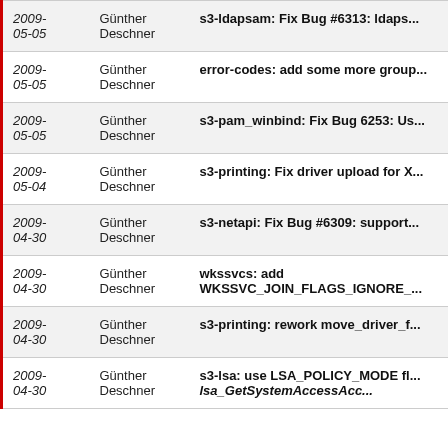| Date | Author | Message |
| --- | --- | --- |
| 2009-05-05 | Günther Deschner | s3-ldapsam: Fix Bug #6313: ldaps... |
| 2009-05-05 | Günther Deschner | error-codes: add some more group... |
| 2009-05-05 | Günther Deschner | s3-pam_winbind: Fix Bug 6253: Us... |
| 2009-05-04 | Günther Deschner | s3-printing: Fix driver upload for X... |
| 2009-04-30 | Günther Deschner | s3-netapi: Fix Bug #6309: support... |
| 2009-04-30 | Günther Deschner | wkssvcs: add WKSSVC_JOIN_FLAGS_IGNORE_... |
| 2009-04-30 | Günther Deschner | s3-printing: rework move_driver_f... |
| 2009-04-30 | Günther Deschner | s3-lsa: use LSA_POLICY_MODE fl... lsa_GetSystemAccessAcc... |